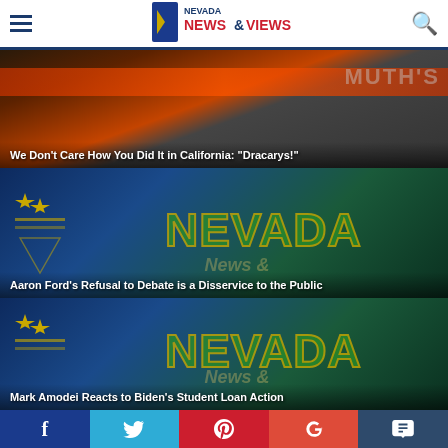Nevada News & Views
[Figure (photo): Man in red cap with orange/red banner in background, article card]
We Don't Care How You Did It in California: “Dracarys!”
[Figure (photo): Nevada state flag with NEVADA text overlay, article card]
Aaron Ford’s Refusal to Debate is a Disservice to the Public
[Figure (photo): Nevada state flag with NEVADA text overlay, article card]
Mark Amodei Reacts to Biden’s Student Loan Action
[Figure (infographic): Social media share buttons: Facebook, Twitter, Pinterest, Google+, Comments]